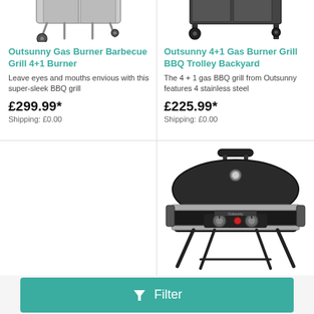[Figure (photo): Outsunny gas BBQ grill on wheels, top portion visible]
Outsunny Gas Burner Barbecue Grill 4+1 Burner
Leave eyes and mouths envious with this super-sleek BBQ grill
£299.99*
Shipping: £0.00
[Figure (photo): Outsunny 4+1 Gas Burner Grill BBQ Trolley top portion visible]
Outsunny 4+1 Gas Burner Grill BBQ Trolley Backyard
The 4 + 1 gas BBQ grill from Outsunny features 4 stainless steel
£225.99*
Shipping: £0.00
[Figure (photo): Empty product card (left bottom)]
[Figure (photo): Black portable gas BBQ grill on folding stand with two control knobs]
Filter